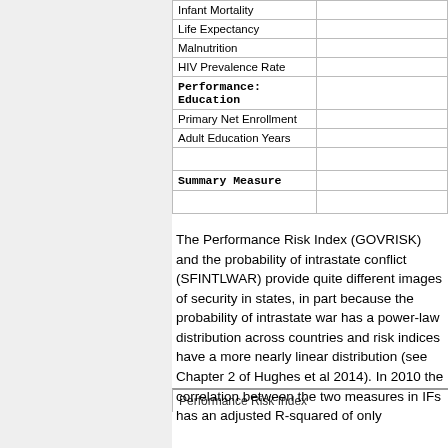| Indicator |  |
| --- | --- |
| Infant Mortality |  |
| Life Expectancy |  |
| Malnutrition |  |
| HIV Prevalence Rate |  |
| Performance: Education |  |
| Primary Net Enrollment |  |
| Adult Education Years |  |
|  |  |
| Summary Measure |  |
Performance Risk Index
The Performance Risk Index (GOVRISK) and the probability of intrastate conflict (SFINTLWAR) provide quite different images of security in states, in part because the probability of intrastate war has a power-law distribution across countries and risk indices have a more nearly linear distribution (see Chapter 2 of Hughes et al 2014). In 2010 the correlation between the two measures in IFs has an adjusted R-squared of only